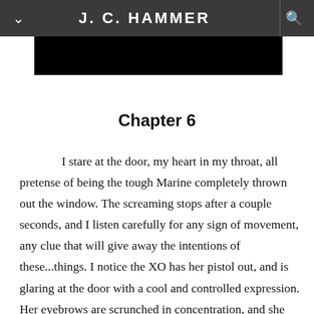J. C. HAMMER
[Figure (photo): Black rectangular image block below the header navigation bar]
Chapter 6
I stare at the door, my heart in my throat, all pretense of being the tough Marine completely thrown out the window. The screaming stops after a couple seconds, and I listen carefully for any sign of movement, any clue that will give away the intentions of these...things. I notice the XO has her pistol out, and is glaring at the door with a cool and controlled expression. Her eyebrows are scrunched in concentration, and she holds her free hand